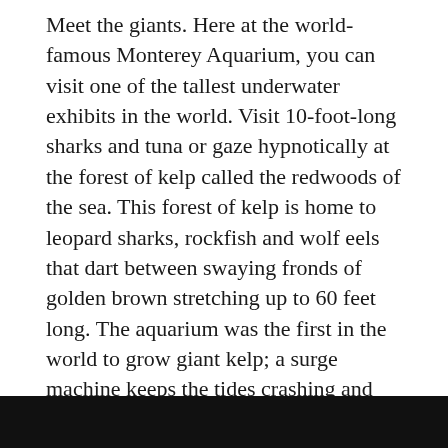Meet the giants. Here at the world-famous Monterey Aquarium, you can visit one of the tallest underwater exhibits in the world. Visit 10-foot-long sharks and tuna or gaze hypnotically at the forest of kelp called the redwoods of the sea. This forest of kelp is home to leopard sharks, rockfish and wolf eels that dart between swaying fronds of golden brown stretching up to 60 feet long. The aquarium was the first in the world to grow giant kelp; a surge machine keeps the tides crashing and since kelp can grow four inches a day, underwater gardeners tend to it regularly.
Bonus for kids: The Splash Zone, with touch tanks, pint-sized microscopes and underwater cameras.